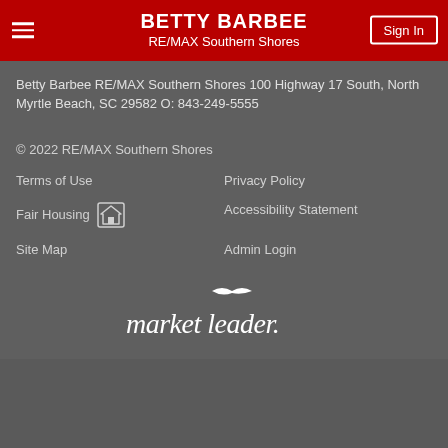BETTY BARBEE
RE/MAX Southern Shores
Betty Barbee RE/MAX Southern Shores 100 Highway 17 South, North Myrtle Beach, SC 29582 O: 843-249-5555
© 2022 RE/MAX Southern Shores
Terms of Use
Privacy Policy
Fair Housing
Accessibility Statement
Site Map
Admin Login
[Figure (logo): market leader. logo in white italic text with a stylized bird above]